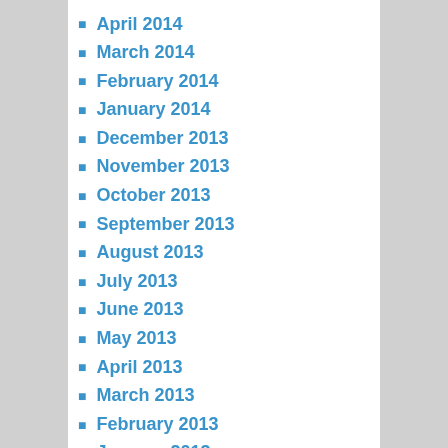April 2014
March 2014
February 2014
January 2014
December 2013
November 2013
October 2013
September 2013
August 2013
July 2013
June 2013
May 2013
April 2013
March 2013
February 2013
January 2013
December 2012
November 2012
August 2012
July 2012
June 2012